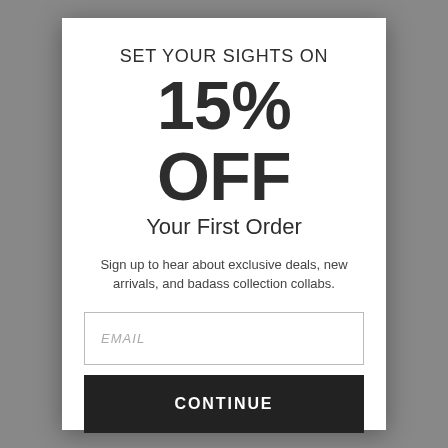SET YOUR SIGHTS ON
15% OFF
Your First Order
Sign up to hear about exclusive deals, new arrivals, and badass collection collabs.
EMAIL
CONTINUE